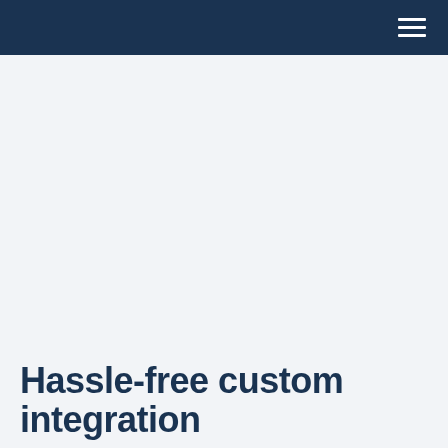Hassle-free custom integration